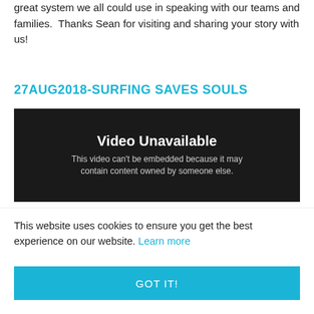great system we all could use in speaking with our teams and families.  Thanks Sean for visiting and sharing your story with us!
27AUG2018-SURFING SAVES SOULS
[Figure (screenshot): Embedded video placeholder showing 'Video Unavailable - This video can't be embedded because it may contain content owned by someone else.']
This website uses cookies to ensure you get the best experience on our website. Learn more
GOT IT!